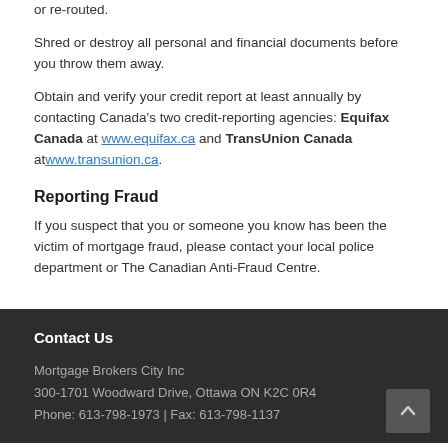or re-routed.
Shred or destroy all personal and financial documents before you throw them away.
Obtain and verify your credit report at least annually by contacting Canada's two credit-reporting agencies: Equifax Canada at www.equifax.ca and TransUnion Canada at www.transunion.ca.
Reporting Fraud
If you suspect that you or someone you know has been the victim of mortgage fraud, please contact your local police department or The Canadian Anti-Fraud Centre.
Contact Us
Mortgage Brokers City Inc
300-1701 Woodward Drive, Ottawa ON K2C 0R4
Phone: 613-798-1973 | Fax: 613-798-1137